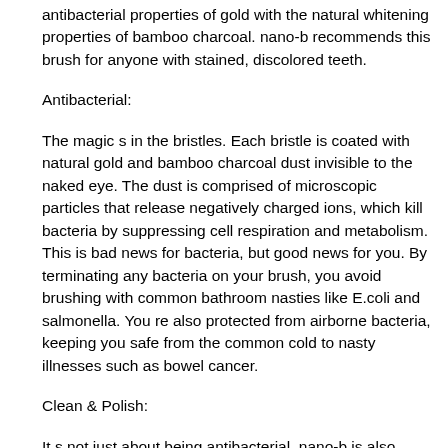antibacterial properties of gold with the natural whitening properties of bamboo charcoal. nano-b recommends this brush for anyone with stained, discolored teeth.
Antibacterial:
The magic s in the bristles. Each bristle is coated with natural gold and bamboo charcoal dust invisible to the naked eye. The dust is comprised of microscopic particles that release negatively charged ions, which kill bacteria by suppressing cell respiration and metabolism. This is bad news for bacteria, but good news for you. By terminating any bacteria on your brush, you avoid brushing with common bathroom nasties like E.coli and salmonella. You re also protected from airborne bacteria, keeping you safe from the common cold to nasty illnesses such as bowel cancer.
Clean & Polish:
It s not just about being antibacterial. nano-b is also committed to providing a brush that offers superior cleaning capabilities. All nano-b brushes come with a double-layered